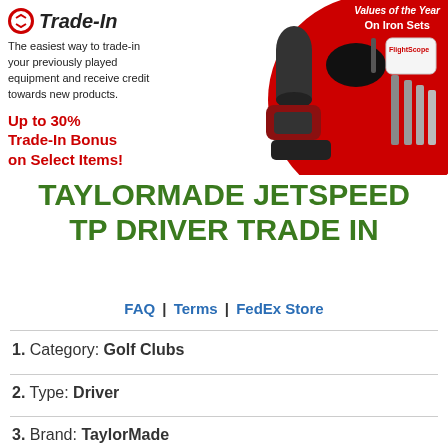[Figure (infographic): Trade-In program banner with logo, golf equipment products on red circle background, and 'Values of the Year On Iron Sets' tag]
TAYLORMADE JETSPEED TP DRIVER TRADE IN
FAQ | Terms | FedEx Store
1. Category: Golf Clubs
2. Type: Driver
3. Brand: TaylorMade